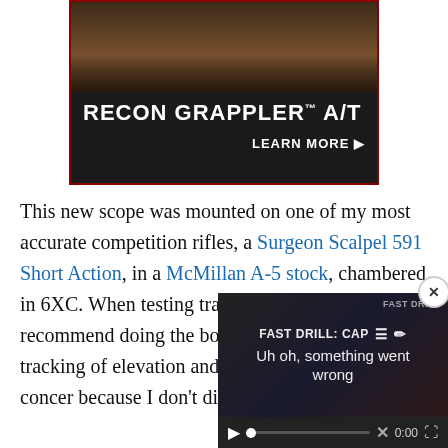[Figure (advertisement): RECON GRAPPLER A/T tire advertisement with dark dirt/terrain background image, white bold text 'RECON GRAPPLER A/T' and 'LEARN MORE ▶' button on black background with dark red border]
This new scope was mounted on one of my most accurate competition rifles, a Surgeon Scalpel 591 Short Action, in a McMillan A-5 stock, chambered in 6XC. When testing tracking, most people will recommend doing the box drill, which tests the tracking of elevation and w... for time, I was only concer... because I don't dial wind d...
[Figure (screenshot): Video player overlay showing 'FAST DRILL: CAP≡' title with hamburger menu icon, pencil icon, mute icon, and error message 'Uh oh, something went wrong' with play controls, X button, 0:00 timestamp, and fullscreen button. Close (x) button in top right corner.]